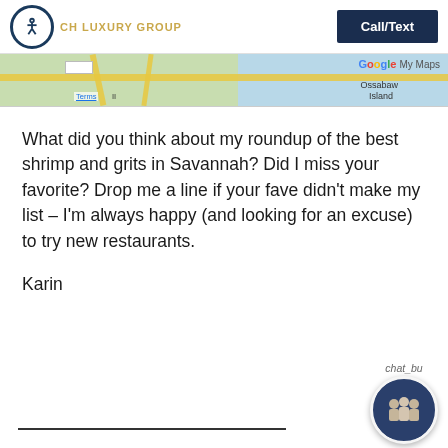CH LUXURY GROUP | Call/Text
[Figure (screenshot): Google My Maps strip showing map with roads and Ossabaw Island label]
What did you think about my roundup of the best shrimp and grits in Savannah?  Did I miss your favorite?  Drop me a line if your fave didn't make my list – I'm always happy (and looking for an excuse) to try new restaurants.
Karin